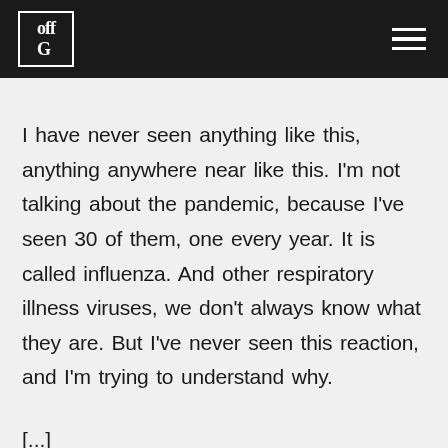offG [logo with hamburger menu]
I have never seen anything like this, anything anywhere near like this. I'm not talking about the pandemic, because I've seen 30 of them, one every year. It is called influenza. And other respiratory illness viruses, we don't always know what they are. But I've never seen this reaction, and I'm trying to understand why.
[...]
[partial line cut off]